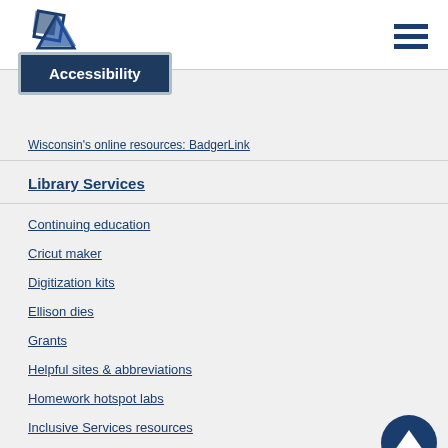[Figure (logo): Library or government agency logo with blue geometric shapes]
Accessibility
[Figure (other): Hamburger menu icon (three horizontal lines)]
Wisconsin's online resources: BadgerLink
Library Services
Continuing education
Cricut maker
Digitization kits
Ellison dies
Grants
Helpful sites & abbreviations
Homework hotspot labs
Inclusive Services resources
Interlibrary Loan & Delivery
Intertype library services
Librarians' advisory committee meetings